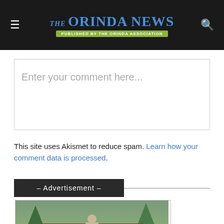The Orinda News — Published by the Orinda Association
Enter your comment here...
This site uses Akismet to reduce spam. Learn how your comment data is processed.
– Advertisement –
[Figure (photo): Photo of a home at 25 Rustic Way, Orinda — Spanish-style house with tile roof, tower element, porch, and surrounding trees and hillside vegetation.]
25 Rustic Way, Orinda | Offered at $5,750,000
25RusticWay.com